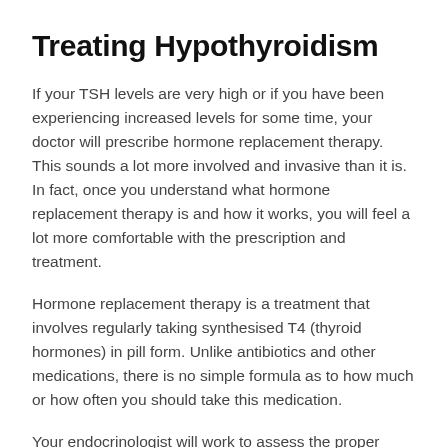Treating Hypothyroidism
If your TSH levels are very high or if you have been experiencing increased levels for some time, your doctor will prescribe hormone replacement therapy. This sounds a lot more involved and invasive than it is. In fact, once you understand what hormone replacement therapy is and how it works, you will feel a lot more comfortable with the prescription and treatment.
Hormone replacement therapy is a treatment that involves regularly taking synthesised T4 (thyroid hormones) in pill form. Unlike antibiotics and other medications, there is no simple formula as to how much or how often you should take this medication.
Your endocrinologist will work to assess the proper